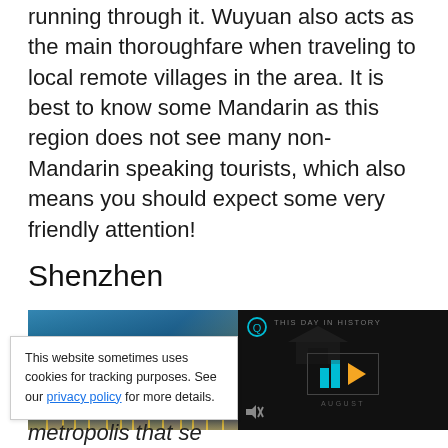running through it. Wuyuan also acts as the main thoroughfare when traveling to local remote villages in the area. It is best to know some Mandarin as this region does not see many non-Mandarin speaking tourists, which also means you should expect some very friendly attention!
Shenzhen
[Figure (photo): City skyline photo of Shenzhen at night with tall illuminated skyscrapers, alongside a dark video overlay panel showing 'THIS DAY IN HISTORY' with a play button and neon blue bars]
This website sometimes uses cookies for tracking purposes. See our privacy policy for more details.
metropolis that se...